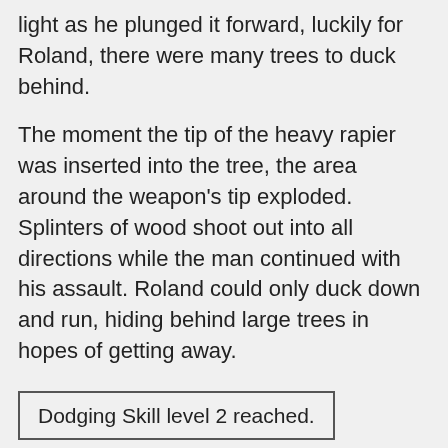light as he plunged it forward, luckily for Roland, there were many trees to duck behind.
The moment the tip of the heavy rapier was inserted into the tree, the area around the weapon's tip exploded. Splinters of wood shoot out into all directions while the man continued with his assault. Roland could only duck down and run, hiding behind large trees in hopes of getting away.
Dodging Skill level 2 reached.
'Goddammit, not now!'
One level in dodging wouldn't aid him too much and